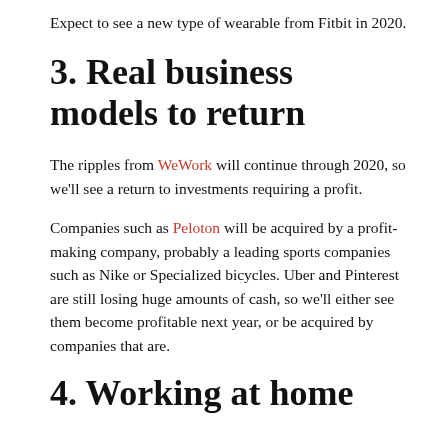Expect to see a new type of wearable from Fitbit in 2020.
3. Real business models to return
The ripples from WeWork will continue through 2020, so we'll see a return to investments requiring a profit.
Companies such as Peloton will be acquired by a profit-making company, probably a leading sports companies such as Nike or Specialized bicycles. Uber and Pinterest are still losing huge amounts of cash, so we'll either see them become profitable next year, or be acquired by companies that are.
4. Working at home